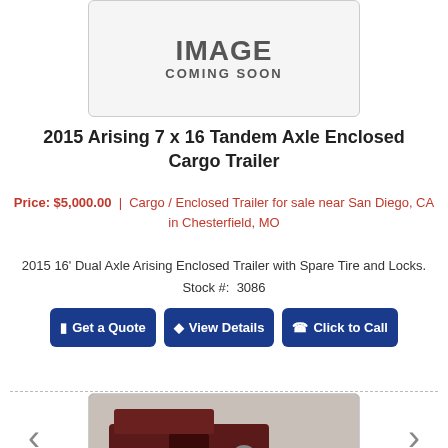[Figure (illustration): Image Coming Soon placeholder box with grey border]
2015 Arising 7 x 16 Tandem Axle Enclosed Cargo Trailer
Price: $5,000.00 | Cargo / Enclosed Trailer for sale near San Diego, CA in Chesterfield, MO
2015 16' Dual Axle Arising Enclosed Trailer with Spare Tire and Locks.
Stock #: 3086
Get a Quote | View Details | Click to Call
[Figure (photo): Photo of a maroon/dark red motorcycle or trailer interior, partial view]